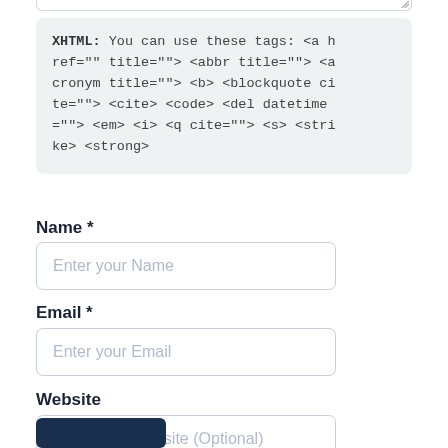XHTML: You can use these tags: <a href="" title=""> <abbr title=""> <acronym title=""> <b> <blockquote cite=""> <cite> <code> <del datetime=""> <em> <i> <q cite=""> <s> <strike> <strong>
Name *
Enter your Name
Email *
Enter your Email
Website
Enter your Website (Optional)